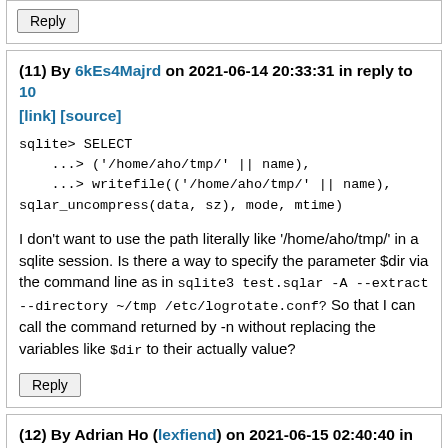Reply
(11) By 6kEs4Majrd on 2021-06-14 20:33:31 in reply to 10 [link] [source]
sqlite> SELECT
    ...> ('/home/aho/tmp/' || name),
    ...> writefile(('/home/aho/tmp/' || name),
sqlar_uncompress(data, sz), mode, mtime)
I don't want to use the path literally like '/home/aho/tmp/' in a sqlite session. Is there a way to specify the parameter $dir via the command line as in sqlite3 test.sqlar -A --extract --directory ~/tmp /etc/logrotate.conf? So that I can call the command returned by -n without replacing the variables like $dir to their actually value?
Reply
(12) By Adrian Ho (lexfiend) on 2021-06-15 02:40:40 in reply to 11 [link] [source]